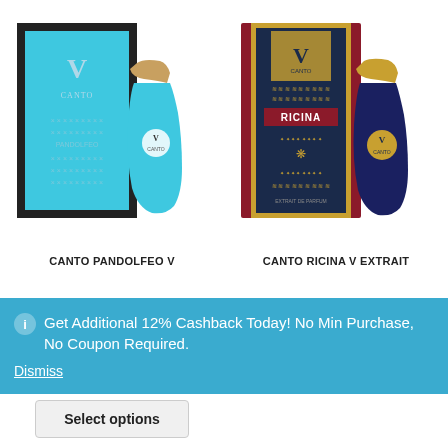[Figure (photo): Canto Pandolfeo V perfume product image showing a blue box with gold pattern and a turquoise/blue bottle with gold cap]
[Figure (photo): Canto Ricina V Extrait perfume product image showing a dark red/navy box with gold ornate pattern labeled RICINA and a dark navy bottle with gold cap]
CANTO PANDOLFEO V
CANTO RICINA V EXTRAIT
Get Additional 12% Cashback Today! No Min Purchase, No Coupon Required.
Dismiss
Select options